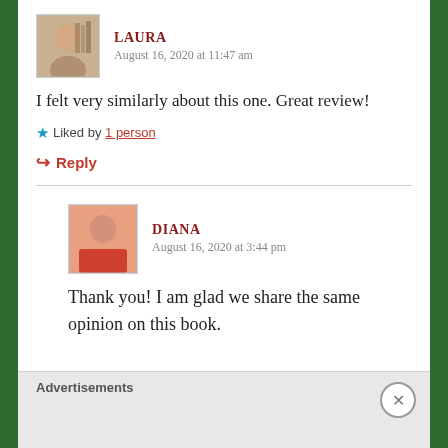[Figure (photo): Avatar photo of Laura, a woman with short dark hair in front of bookshelves]
LAURA
August 16, 2020 at 11:47 am
I felt very similarly about this one. Great review!
★ Liked by 1 person
↪ Reply
[Figure (photo): Avatar photo of Diana, a woman in a pink/red top]
DIANA
August 16, 2020 at 3:44 pm
Thank you! I am glad we share the same opinion on this book.
Advertisements